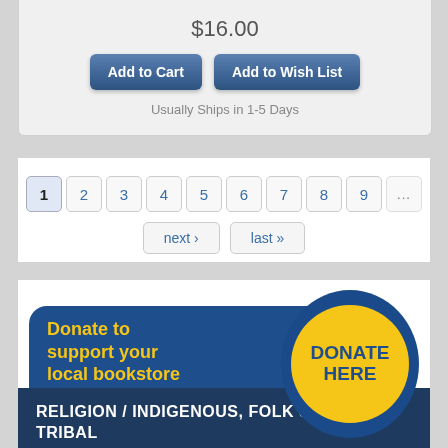$16.00
Add to Cart
Add to Wish List
Usually Ships in 1-5 Days
1 2 3 4 5 6 7 8 9 ...
next › last »
[Figure (infographic): Donate to support your local bookstore banner with blue background and yellow circle containing DONATE HERE text]
RELIGION / INDIGENOUS, FOLK & TRIBAL